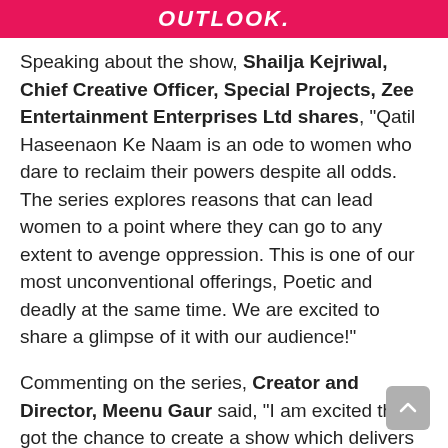OUTLOOK
Speaking about the show, Shailja Kejriwal, Chief Creative Officer, Special Projects, Zee Entertainment Enterprises Ltd shares, “Qatil Haseenaon Ke Naam is an ode to women who dare to reclaim their powers despite all odds. The series explores reasons that can lead women to a point where they can go to any extent to avenge oppression. This is one of our most unconventional offerings, Poetic and deadly at the same time. We are excited to share a glimpse of it with our audience!”
Commenting on the series, Creator and Director, Meenu Gaur said, “I am excited that I got the chance to create a show which delivers on